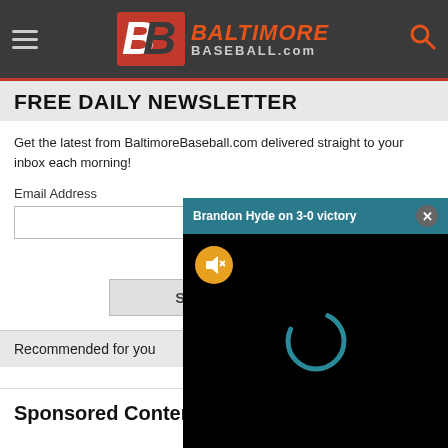[Figure (screenshot): BaltimoreBaseball.com website header with hamburger menu, logo, and search icon on dark gray background]
FREE DAILY NEWSLETTER
Get the latest from BaltimoreBaseball.com delivered straight to your inbox each morning!
Email Address
[Figure (screenshot): Video popup overlay titled 'Brandon Hyde on 3-0 victory' with mute button and loading spinner on black background]
Recommended for you
Sponsored Content